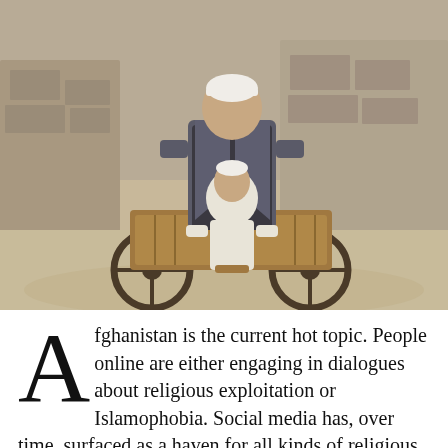[Figure (photo): An elderly man wearing a white skullcap and grey vest pushes a wooden cart with a young child in white clothing riding on the back. The scene is set on a dusty road with rubble and stone walls in the background.]
Afghanistan is the current hot topic. People online are either engaging in dialogues about religious exploitation or Islamophobia. Social media has, over time, surfaced as a haven for all kinds of religious extremism and political agendas. Despite Afghans fearing a total loss